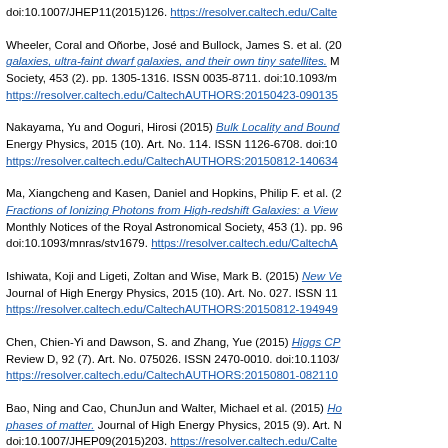doi:10.1007/JHEP11(2015)126. https://resolver.caltech.edu/Calte...
Wheeler, Coral and Oñorbe, José and Bullock, James S. et al. (2015) galaxies, ultra-faint dwarf galaxies, and their own tiny satellites. Monthly Notices of the Royal Astronomical Society, 453 (2). pp. 1305-1316. ISSN 0035-8711. doi:10.1093/mn... https://resolver.caltech.edu/CaltechAUTHORS:20150423-090135...
Nakayama, Yu and Ooguri, Hirosi (2015) Bulk Locality and Bound... Journal of High Energy Physics, 2015 (10). Art. No. 114. ISSN 1126-6708. doi:10... https://resolver.caltech.edu/CaltechAUTHORS:20150812-140634...
Ma, Xiangcheng and Kasen, Daniel and Hopkins, Philip F. et al. (2015) Fractions of Ionizing Photons from High-redshift Galaxies: a View... Monthly Notices of the Royal Astronomical Society, 453 (1). pp. 96... doi:10.1093/mnras/stv1679. https://resolver.caltech.edu/CaltechA...
Ishiwata, Koji and Ligeti, Zoltan and Wise, Mark B. (2015) New Ve... Journal of High Energy Physics, 2015 (10). Art. No. 027. ISSN 11... https://resolver.caltech.edu/CaltechAUTHORS:20150812-194949...
Chen, Chien-Yi and Dawson, S. and Zhang, Yue (2015) Higgs CP... Review D, 92 (7). Art. No. 075026. ISSN 2470-0010. doi:10.1103/... https://resolver.caltech.edu/CaltechAUTHORS:20150801-082110...
Bao, Ning and Cao, ChunJun and Walter, Michael et al. (2015) Ho... phases of matter. Journal of High Energy Physics, 2015 (9). Art. N... doi:10.1007/JHEP09(2015)203. https://resolver.caltech.edu/Calte...
Bartolotta, Anthony and Carroll, Sean M. and Leichenauer, Stefan...